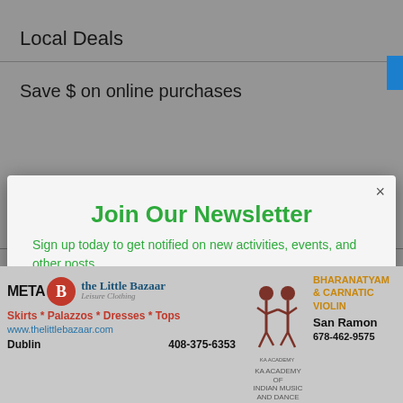Local Deals
Save $ on online purchases
Join Our Newsletter
Sign up today to get notified on new activities, events, and other posts
WEBSITE HOSTING
Enter your Email
SUBSCRIBE NOW
[Figure (infographic): Bottom advertisement strip with two ads: left ad for 'the Little Bazaar Leisure Clothing' featuring skirts, palazzos, dresses, tops at www.thelittlebazaar.com, Dublin, 408-375-6353; right ad for 'KA Academy of Indian Music and Dance' offering Bharanatyam & Carnatic Violin in San Ramon, 678-462-9575]